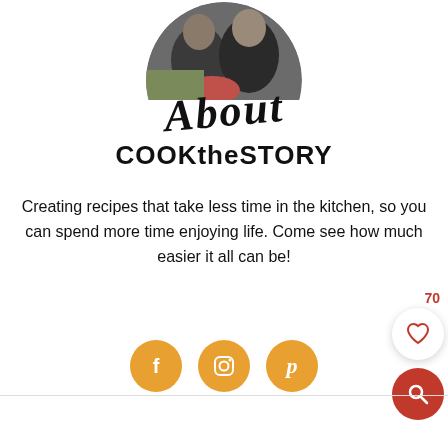[Figure (photo): Circular profile photo showing two people sitting, partially cropped at the top of the page]
About
COOKtheSTORY
Creating recipes that take less time in the kitchen, so you can spend more time enjoying life. Come see how much easier it all can be!
[Figure (infographic): Three orange circular social media icons: Facebook (f), Instagram, and Pinterest (p)]